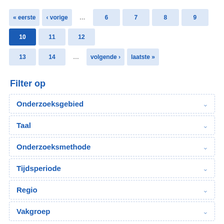Pagination: « eerste · ‹ vorige · … · 6 · 7 · 8 · 9 · 10 (active) · 11 · 12 · 13 · 14 · … · volgende › · laatste »
Filter op
Onderzoeksgebied
Taal
Onderzoeksmethode
Tijdsperiode
Regio
Vakgroep